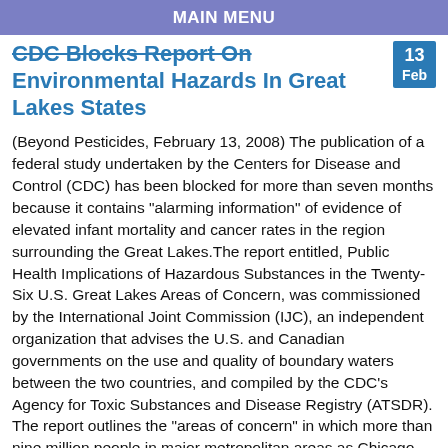MAIN MENU
CDC Blocks Report On Environmental Hazards In Great Lakes States
(Beyond Pesticides, February 13, 2008) The publication of a federal study undertaken by the Centers for Disease and Control (CDC) has been blocked for more than seven months because it contains “alarming information” of evidence of elevated infant mortality and cancer rates in the region surrounding the Great Lakes.The report entitled, Public Health Implications of Hazardous Substances in the Twenty-Six U.S. Great Lakes Areas of Concern, was commissioned by the International Joint Commission (IJC), an independent organization that advises the U.S. and Canadian governments on the use and quality of boundary waters between the two countries, and compiled by the CDC’s Agency for Toxic Substances and Disease Registry (ATSDR). The report outlines the “areas of concern” in which more than nine million people in major metropolitan areas as Chicago, Cleveland, Detroit, and Milwaukee, face higher health risks from exposure to dioxin, PCBs, pesticides, lead, mercury, or six other hazardous pollutants.Contributors to the report include senior experts from the Environmental Protection